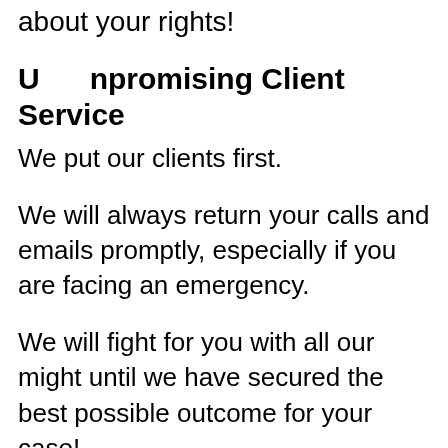about your rights!
U      npromising Client Service
We put our clients first.
We will always return your calls and emails promptly, especially if you are facing an emergency.
We will fight for you with all our might until we have secured the best possible outcome for your case!
In addition to representing individuals, we also work with families of wrongful death